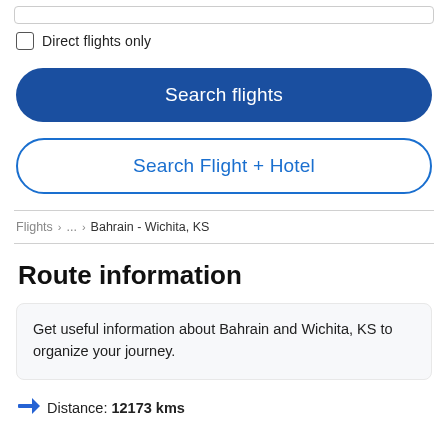Direct flights only
Search flights
Search Flight + Hotel
Flights > ... > Bahrain - Wichita, KS
Route information
Get useful information about Bahrain and Wichita, KS to organize your journey.
Distance: 12173 kms